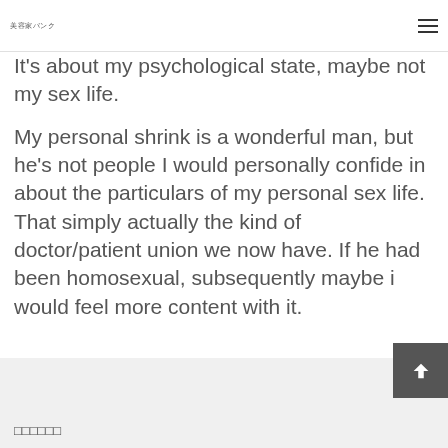美容家バンク
It's about my psychological state, maybe not my sex life.
My personal shrink is a wonderful man, but he's not people I would personally confide in about the particulars of my personal sex life. That simply actually the kind of doctor/patient union we now have. If he had been homosexual, subsequently maybe i would feel more content with it.
□□□□□□